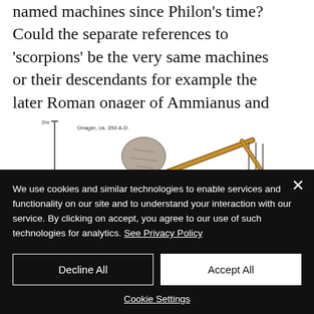named machines since Philon's time? Could the separate references to 'scorpions' be the very same machines or their descendants for example the later Roman onager of Ammianus and Vegetius?
[Figure (illustration): An illustration of a Roman onager siege engine (catapult), with a scale bar showing 2m height on the left side and label 'Onager, ca. 350 A.D.' The machine is made of wood with metal fittings, showing a large projectile (stone) in a sling mechanism, with ropes and counterweights visible on the right.]
We use cookies and similar technologies to enable services and functionality on our site and to understand your interaction with our service. By clicking on accept, you agree to our use of such technologies for analytics. See Privacy Policy